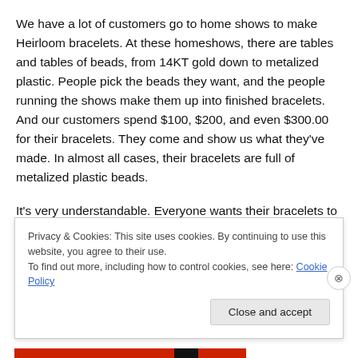We have a lot of customers go to home shows to make Heirloom bracelets. At these homeshows, there are tables and tables of beads, from 14KT gold down to metalized plastic. People pick the beads they want, and the people running the shows make them up into finished bracelets. And our customers spend $100, $200, and even $300.00 for their bracelets. They come and show us what they've made. In almost all cases, their bracelets are full of metalized plastic beads.
It's very understandable. Everyone wants their bracelets to
Privacy & Cookies: This site uses cookies. By continuing to use this website, you agree to their use.
To find out more, including how to control cookies, see here: Cookie Policy
Close and accept